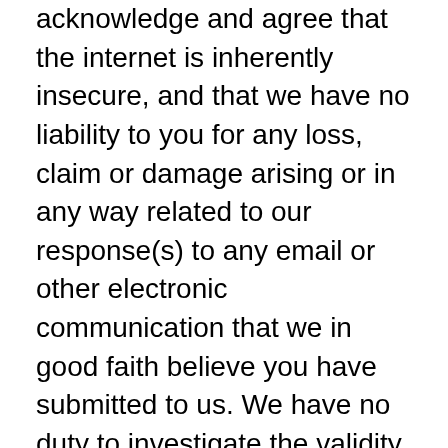acknowledge and agree that the internet is inherently insecure, and that we have no liability to you for any loss, claim or damage arising or in any way related to our response(s) to any email or other electronic communication that we in good faith believe you have submitted to us. We have no duty to investigate the validity or to verify any email or other electronic communication. We may respond to an email communication provided by you to either the address provided with the communication or your email address. Any email returned to us undelivered may be re-sent to you at any other email address that we have in your file, unless you have previously informed us through electronic or written notice that an email address is no longer valid. Although we have no obligation to do so, we reserve the right to require